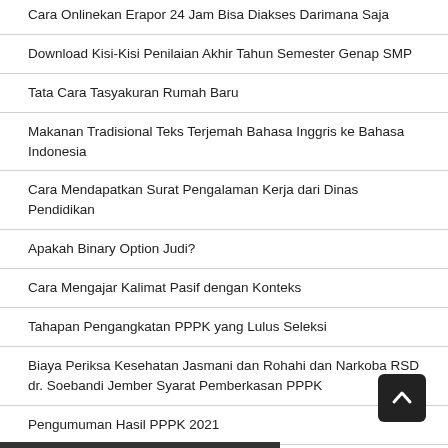Cara Onlinekan Erapor 24 Jam Bisa Diakses Darimana Saja
Download Kisi-Kisi Penilaian Akhir Tahun Semester Genap SMP
Tata Cara Tasyakuran Rumah Baru
Makanan Tradisional Teks Terjemah Bahasa Inggris ke Bahasa Indonesia
Cara Mendapatkan Surat Pengalaman Kerja dari Dinas Pendidikan
Apakah Binary Option Judi?
Cara Mengajar Kalimat Pasif dengan Konteks
Tahapan Pengangkatan PPPK yang Lulus Seleksi
Biaya Periksa Kesehatan Jasmani dan Rohahi dan Narkoba RSD dr. Soebandi Jember Syarat Pemberkasan PPPK
Pengumuman Hasil PPPK 2021